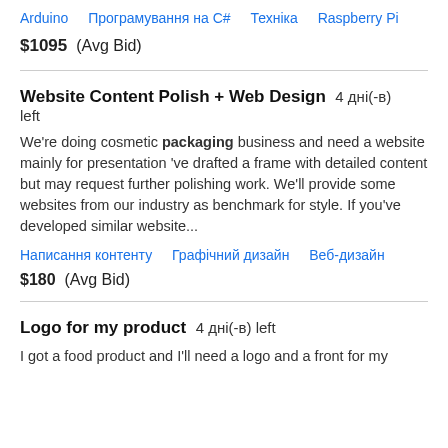Arduino   Програмування на C#   Техніка   Raspberry Pi
$1095  (Avg Bid)
Website Content Polish + Web Design   4 дні(-в) left
We're doing cosmetic packaging business and need a website mainly for presentation 've drafted a frame with detailed content but may request further polishing work. We'll provide some websites from our industry as benchmark for style. If you've developed similar website...
Написання контенту   Графічний дизайн   Веб-дизайн
$180  (Avg Bid)
Logo for my product   4 дні(-в) left
I got a food product and I'll need a logo and a front for my